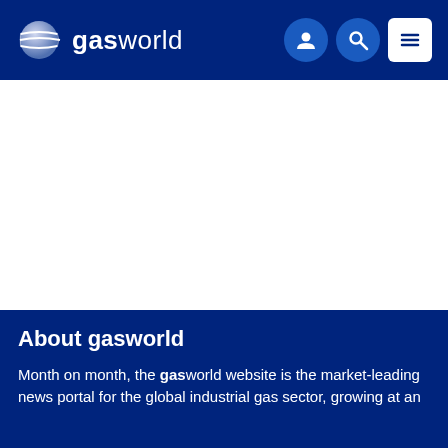gasworld
[Figure (screenshot): White blank content area placeholder]
About gasworld
Month on month, the gasworld website is the market-leading news portal for the global industrial gas sector, growing at an